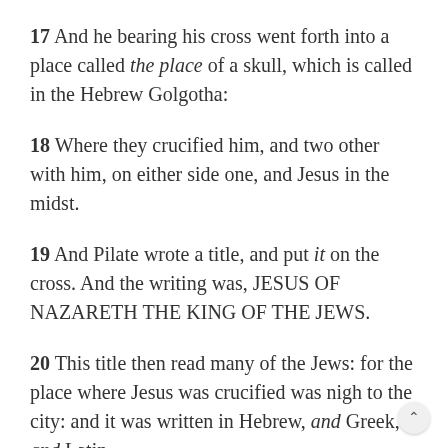17 And he bearing his cross went forth into a place called the place of a skull, which is called in the Hebrew Golgotha:
18 Where they crucified him, and two other with him, on either side one, and Jesus in the midst.
19 And Pilate wrote a title, and put it on the cross. And the writing was, JESUS OF NAZARETH THE KING OF THE JEWS.
20 This title then read many of the Jews: for the place where Jesus was crucified was nigh to the city: and it was written in Hebrew, and Greek, and Latin.
21 Then said the chief priests of the Jews to